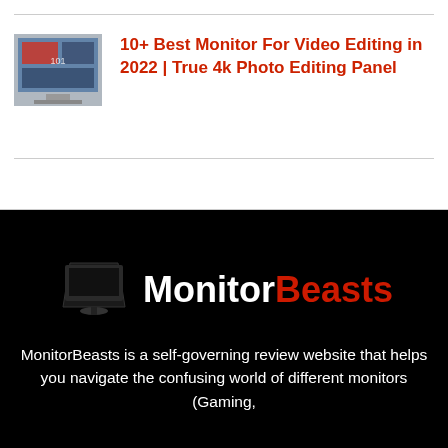[Figure (screenshot): Thumbnail image of a monitor/video editing screen]
10+ Best Monitor For Video Editing in 2022 | True 4k Photo Editing Panel
[Figure (logo): MonitorBeasts logo with a monitor icon and text MonitorBeasts in white and red]
MonitorBeasts is a self-governing review website that helps you navigate the confusing world of different monitors (Gaming,